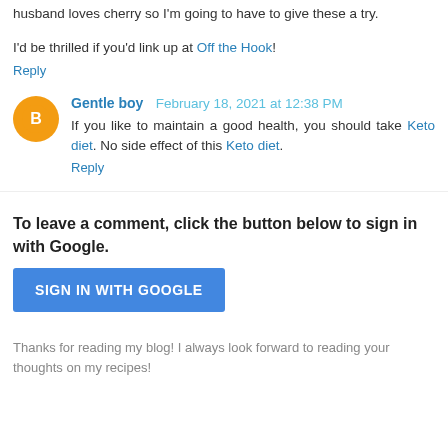husband loves cherry so I'm going to have to give these a try.
I'd be thrilled if you'd link up at Off the Hook!
Reply
Gentle boy  February 18, 2021 at 12:38 PM
If you like to maintain a good health, you should take Keto diet. No side effect of this Keto diet.
Reply
To leave a comment, click the button below to sign in with Google.
SIGN IN WITH GOOGLE
Thanks for reading my blog! I always look forward to reading your thoughts on my recipes!